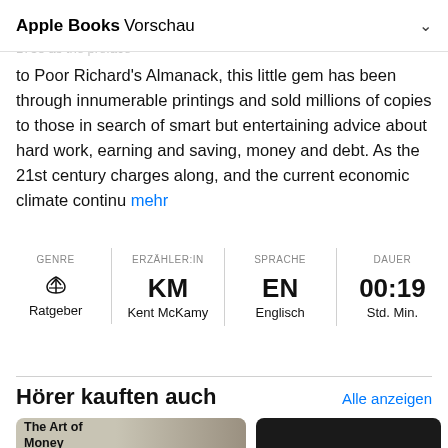Apple Books Vorschau
The first American book on personal finance. The Way to Wealth is still the best and wisest money book ever written. Originally published in 1758 as the preface to Poor Richard's Almanack, this little gem has been through innumerable printings and sold millions of copies to those in search of smart but entertaining advice about hard work, earning and saving, money and debt. As the 21st century charges along, and the current economic climate continue mehr
| GENRE | ERZÄHLER:IN | SPRACHE | DAUER |
| --- | --- | --- | --- |
| Ratgeber | Kent McKamy | Englisch | Std. Min. |
Hörer kauften auch
[Figure (photo): Book cover for 'The Art of Money Getting' showing a person in a suit with a green tie holding money]
[Figure (photo): Dark book cover, partially visible]
[Figure (photo): Dark book cover, partially cropped on right edge]